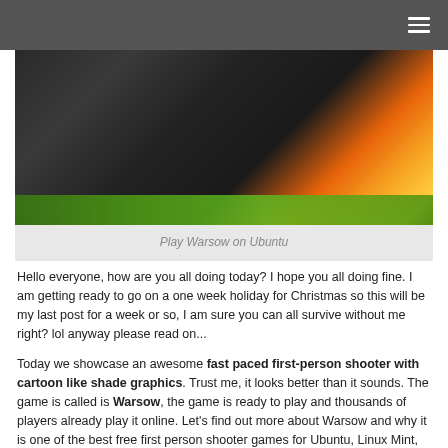[Figure (screenshot): Screenshot of Warsow game showing futuristic sci-fi arena with dark metallic corridors, green glowing floor, and explosion with fire/sparks in upper right]
Play Warsow on Ubuntu
Hello everyone, how are you all doing today? I hope you all doing fine. I am getting ready to go on a one week holiday for Christmas so this will be my last post for a week or so, I am sure you can all survive without me right? lol anyway please read on...
Today we showcase an awesome fast paced first-person shooter with cartoon like shade graphics. Trust me, it looks better than it sounds. The game is called is Warsow, the game is ready to play and thousands of players already play it online. Let's find out more about Warsow and why it is one of the best free first person shooter games for Ubuntu, Linux Mint, Windows and Mac.